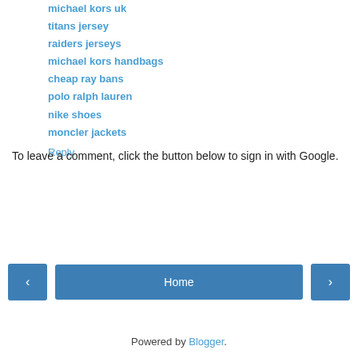michael kors uk
titans jersey
raiders jerseys
michael kors handbags
cheap ray bans
polo ralph lauren
nike shoes
moncler jackets
Reply
To leave a comment, click the button below to sign in with Google.
SIGN IN WITH GOOGLE
Home
View web version
Powered by Blogger.